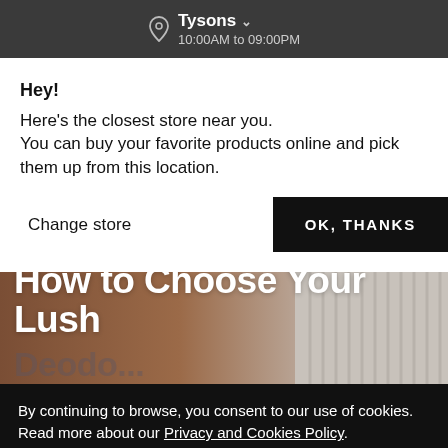Tysons  10:00AM to 09:00PM
Hey!
Here's the closest store near you.
You can buy your favorite products online and pick them up from this location.
Change store
OK, THANKS
[Figure (screenshot): Partial hero image showing brown/tan textured background with title text 'How to Choose Your Lush' and partially visible word below in grey]
By continuing to browse, you consent to our use of cookies. Read more about our Privacy and Cookies Policy.
LET'S SHOP